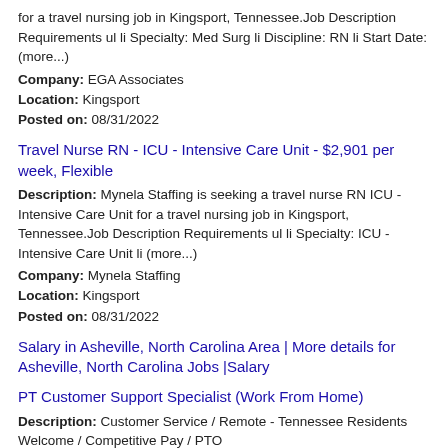for a travel nursing job in Kingsport, Tennessee.Job Description Requirements ul li Specialty: Med Surg li Discipline: RN li Start Date: (more...)
Company: EGA Associates
Location: Kingsport
Posted on: 08/31/2022
Travel Nurse RN - ICU - Intensive Care Unit - $2,901 per week, Flexible
Description: Mynela Staffing is seeking a travel nurse RN ICU - Intensive Care Unit for a travel nursing job in Kingsport, Tennessee.Job Description Requirements ul li Specialty: ICU - Intensive Care Unit li (more...)
Company: Mynela Staffing
Location: Kingsport
Posted on: 08/31/2022
Salary in Asheville, North Carolina Area | More details for Asheville, North Carolina Jobs |Salary
PT Customer Support Specialist (Work From Home)
Description: Customer Service / Remote - Tennessee Residents Welcome / Competitive Pay / PTO
Company: Thistle